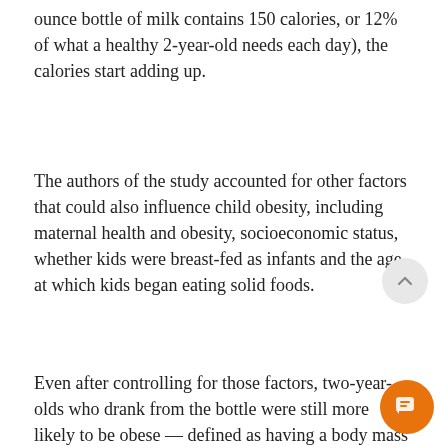ounce bottle of milk contains 150 calories, or 12% of what a healthy 2-year-old needs each day), the calories start adding up.
The authors of the study accounted for other factors that could also influence child obesity, including maternal health and obesity, socioeconomic status, whether kids were breast-fed as infants and the age at which kids began eating solid foods.
Even after controlling for those factors, two-year-olds who drank from the bottle were still more likely to be obese — defined as having a body mass index at or above the 95th percentile for their age — than kids who were weaned earlier, the researchers say.
They add that relying on bottles regularly at mealtime or putting a child to bed with a bottle isn't just a concern for